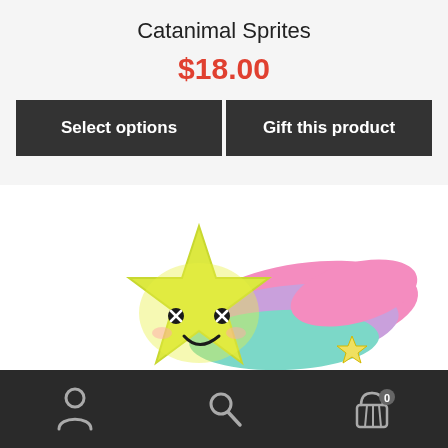Catanimal Sprites
$18.00
Select options
Gift this product
[Figure (photo): A yellow star-shaped kawaii plush toy lying on its side with a cute smiling face and rainbow/colorful tail streamer in pink, purple, and teal. A small yellow star is visible on the tail.]
[Figure (other): Bottom navigation bar with three icons: person/account icon, search magnifier icon, and shopping basket icon with '0' badge]